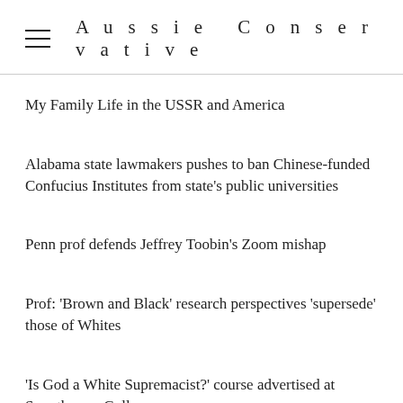Aussie Conservative
My Family Life in the USSR and America
Alabama state lawmakers pushes to ban Chinese-funded Confucius Institutes from state's public universities
Penn prof defends Jeffrey Toobin's Zoom mishap
Prof: 'Brown and Black' research perspectives 'supersede' those of Whites
'Is God a White Supremacist?' course advertised at Swarthmore College